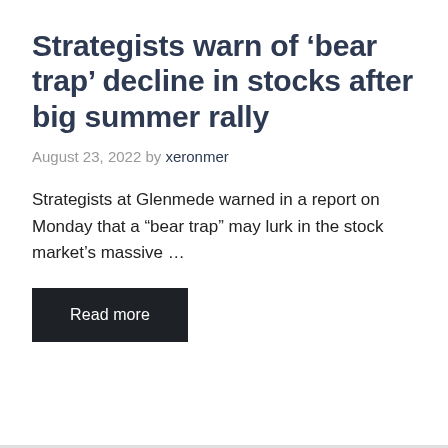Strategists warn of ‘bear trap’ decline in stocks after big summer rally
August 23, 2022 by xeronmer
Strategists at Glenmede warned in a report on Monday that a “bear trap” may lurk in the stock market’s massive ...
Read more